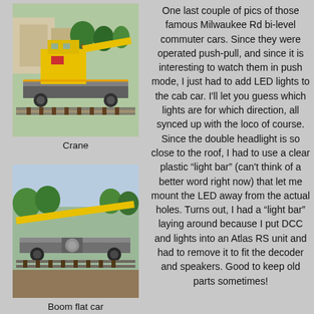[Figure (photo): Model railroad crane car on tracks, yellow crane on flatcar, model layout with scenery in background]
Crane
[Figure (photo): Model railroad boom flat car on tracks, gray flatcar with boom, model layout scenery in background]
Boom flat car
One last couple of pics of those famous Milwaukee Rd bi-level commuter cars. Since they were operated push-pull, and since it is interesting to watch them in push mode, I just had to add LED lights to the cab car. I'll let you guess which lights are for which direction, all synced up with the loco of course. Since the double headlight is so close to the roof, I had to use a clear plastic “light bar” (can't think of a better word right now) that let me mount the LED away from the actual holes. Turns out, I had a “light bar” laying around because I put DCC and lights into an Atlas RS unit and had to remove it to fit the decoder and speakers. Good to keep old parts sometimes!